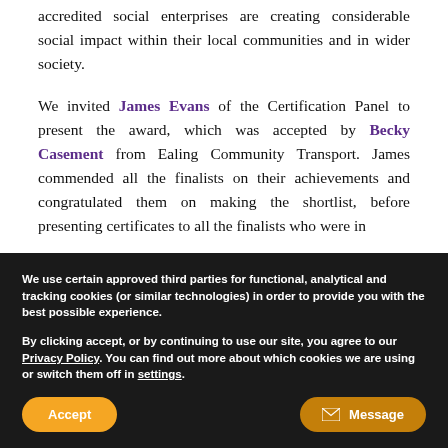accredited social enterprises are creating considerable social impact within their local communities and in wider society.
We invited James Evans of the Certification Panel to present the award, which was accepted by Becky Casement from Ealing Community Transport. James commended all the finalists on their achievements and congratulated them on making the shortlist, before presenting certificates to all the finalists who were in
We use certain approved third parties for functional, analytical and tracking cookies (or similar technologies) in order to provide you with the best possible experience.
By clicking accept, or by continuing to use our site, you agree to our Privacy Policy. You can find out more about which cookies we are using or switch them off in settings.